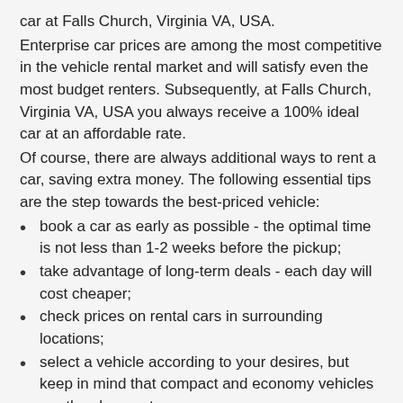car at Falls Church, Virginia VA, USA.
Enterprise car prices are among the most competitive in the vehicle rental market and will satisfy even the most budget renters. Subsequently, at Falls Church, Virginia VA, USA you always receive a 100% ideal car at an affordable rate.
Of course, there are always additional ways to rent a car, saving extra money. The following essential tips are the step towards the best-priced vehicle:
book a car as early as possible - the optimal time is not less than 1-2 weeks before the pickup;
take advantage of long-term deals - each day will cost cheaper;
check prices on rental cars in surrounding locations;
select a vehicle according to your desires, but keep in mind that compact and economy vehicles are the cheapest cars;
use full-to-full option for fuel usage;
select the most cost-effective insurance protection package;
avoid one-way journeys;
try to find discounts and promotions;